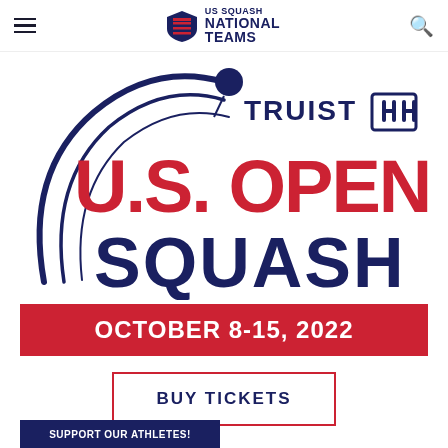US Squash National Teams
[Figure (logo): Truist U.S. Open Squash tournament logo with squash ball and racket swoosh graphic, red and navy blue text]
OCTOBER 8-15, 2022
BUY TICKETS
SUPPORT OUR ATHLETES!